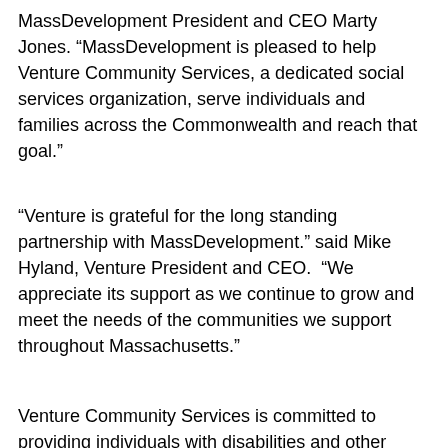MassDevelopment President and CEO Marty Jones. “MassDevelopment is pleased to help Venture Community Services, a dedicated social services organization, serve individuals and families across the Commonwealth and reach that goal.”
“Venture is grateful for the long standing partnership with MassDevelopment.” said Mike Hyland, Venture President and CEO. “We appreciate its support as we continue to grow and meet the needs of the communities we support throughout Massachusetts.”
Venture Community Services is committed to providing individuals with disabilities and other challenges, their families